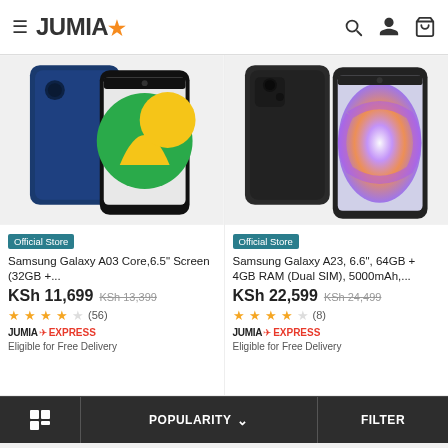JUMIA
[Figure (photo): Samsung Galaxy A03 Core smartphone product image showing back and front view with blue color and colorful screen]
Official Store
Samsung Galaxy A03 Core,6.5" Screen (32GB +...
KSh 11,699 KSh 13,399
★★★★☆ (56)
JUMIA EXPRESS
Eligible for Free Delivery
[Figure (photo): Samsung Galaxy A23 smartphone product image showing back and front view with black color and galaxy-themed screen]
Official Store
Samsung Galaxy A23, 6.6", 64GB + 4GB RAM (Dual SIM), 5000mAh,...
KSh 22,599 KSh 24,499
★★★★☆ (8)
JUMIA EXPRESS
Eligible for Free Delivery
POPULARITY ∨   FILTER
This website uses cookies. For further information on how we use cookies you can read our Privacy and Cookie notice